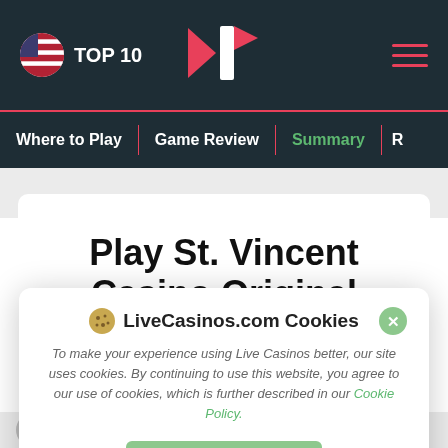TOP 10
Where to Play | Game Review | Summary
Play St. Vincent Casino Original Roulette Here
LiveCasinos.com Cookies
To make your experience using Live Casinos better, our site uses cookies. By continuing to use this website, you agree to our use of cookies, which is further described in our Cookie Policy.
Accept